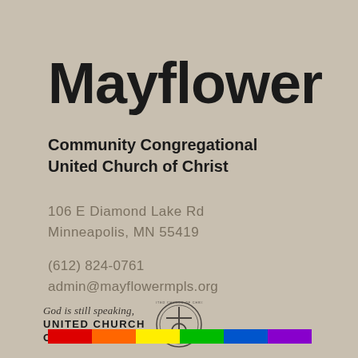Mayflower
Community Congregational
United Church of Christ
106 E Diamond Lake Rd
Minneapolis, MN 55419
(612) 824-0761
admin@mayflowermpls.org
[Figure (logo): United Church of Christ logo with tagline 'God is still speaking,' and circular seal]
[Figure (infographic): Rainbow pride bar with six colors: red, orange, yellow, green, blue, purple]